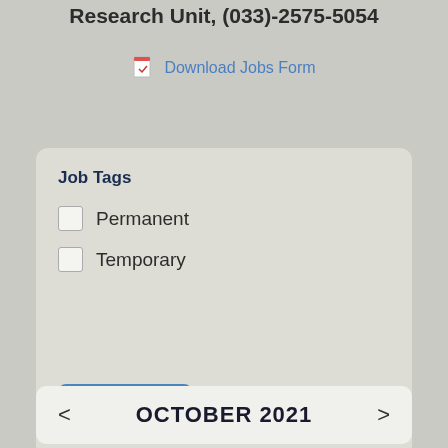Research Unit, (033)-2575-5054
Download Jobs Form
Job Tags
Permanent
Temporary
Submit
OCTOBER 2021